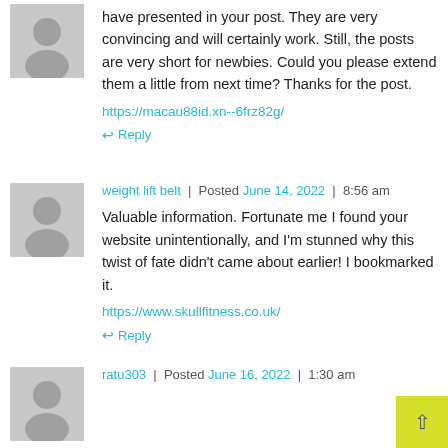have presented in your post. They are very convincing and will certainly work. Still, the posts are very short for newbies. Could you please extend them a little from next time? Thanks for the post.
https://macau88id.xn--6frz82g/
Reply
weight lift belt | Posted June 14, 2022 | 8:56 am
Valuable information. Fortunate me I found your website unintentionally, and I'm stunned why this twist of fate didn't came about earlier! I bookmarked it.
https://www.skullfitness.co.uk/
Reply
ratu303 | Posted June 16, 2022 | 1:30 am